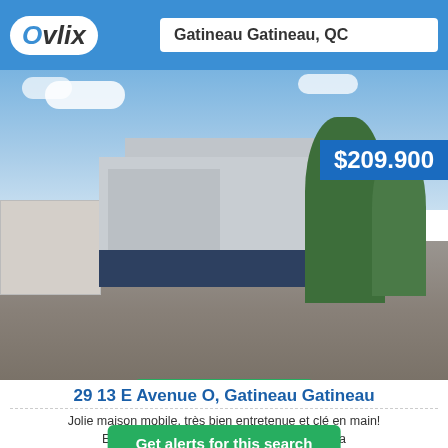Ovlix — Gatineau Gatineau, QC
[Figure (photo): Exterior photo of a mobile home with gray vinyl siding, dark blue base, enclosed porch, driveway, white fence on left, tall cypress/cedar trees on right, blue sky with clouds. Price overlay: $209.900]
20 Photos ›
29 13 E Avenue O, Gatineau Gatineau
Jolie maison mobile, très bien entretenue et clé en main! Emplacement … le situé sur la dernière rue, cette rue est l'une ...
Get alerts for this search